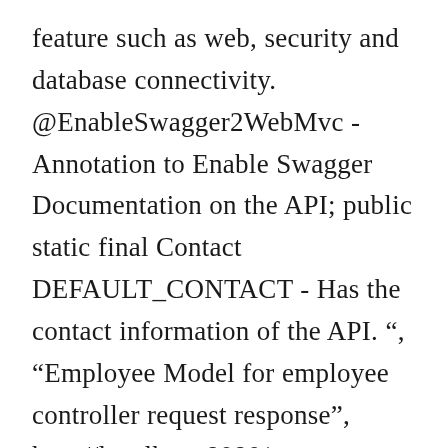feature such as web, security and database connectivity. @EnableSwagger2WebMvc - Annotation to Enable Swagger Documentation on the API; public static final Contact DEFAULT_CONTACT - Has the contact information of the API. ", "Employee Model for employee controller request response", http://localhost:8080/swagger-ui.html#/TestString/getTestUsingGET, creating a project from Spring Initializr step by step, Difference between Arraylist and Vector : Core Java Interview Collection Question, Amazon Interview Question : First Non repeated character in String, Count total number of times each alphabet appears in the